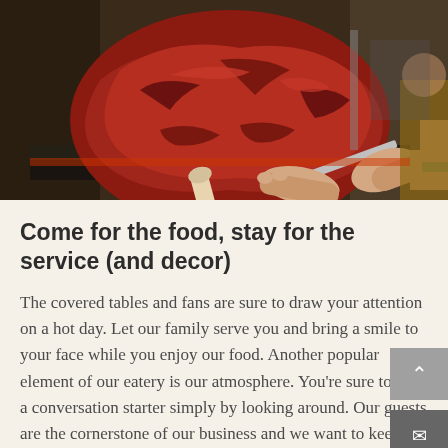[Figure (photo): A large roasted meat (appears to be a whole roasted animal or large cut) being carved with a knife by a person's hands. The meat is dark reddish-brown. The scene appears to be at an outdoor food stall or market.]
Come for the food, stay for the service (and decor)
The covered tables and fans are sure to draw your attention on a hot day. Let our family serve you and bring a smile to your face while you enjoy our food. Another popular element of our eatery is our atmosphere. You're sure to find a conversation starter simply by looking around. Our guests are the cornerstone of our business and we want to keep you